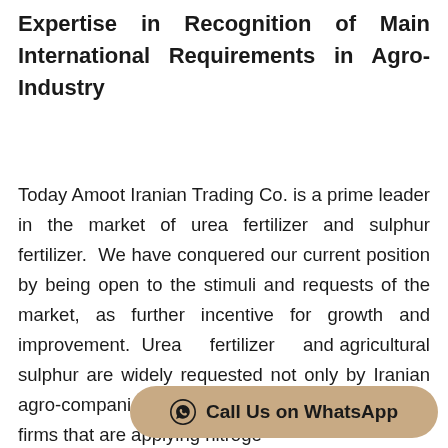Expertise in Recognition of Main International Requirements in Agro-Industry
Today Amoot Iranian Trading Co. is a prime leader in the market of urea fertilizer and sulphur fertilizer. We have conquered our current position by being open to the stimuli and requests of the market, as further incentive for growth and improvement. Urea fertilizer and agricultural sulphur are widely requested not only by Iranian agro-companies but also by international agro-firms that are applying nitroge...
[Figure (other): WhatsApp call button with WhatsApp logo icon and text 'Call Us on WhatsApp' on a tan/beige rounded rectangle background]